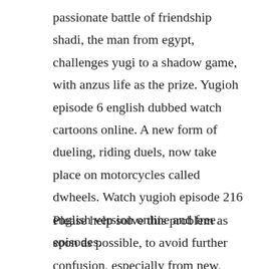passionate battle of friendship shadi, the man from egypt, challenges yugi to a shadow game, with anzus life as the prize. Yugioh episode 6 english dubbed watch cartoons online. A new form of dueling, riding duels, now take place on motorcycles called dwheels. Watch yugioh episode 216 english version online and free episodes.
Please help solve this problem as soon as possible, to avoid further confusion, especially from new, inexperienced, unregistered users. Duel monsters was